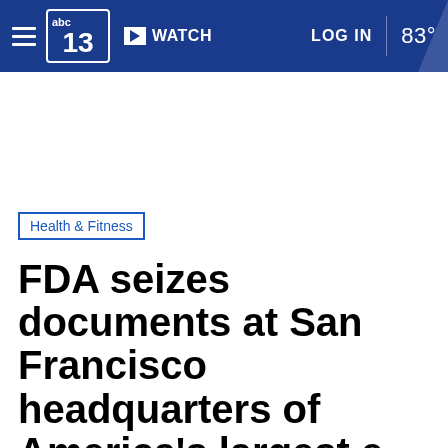abc13 | WATCH | LOG IN | 83°
Health & Fitness
FDA seizes documents at San Francisco headquarters of America's largest e-cigarette seller JUUL